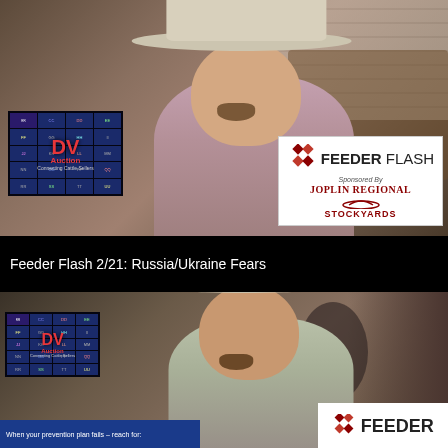[Figure (screenshot): Video thumbnail showing a man wearing a white cowboy hat sitting in front of a laptop displaying 'DV Auction' logo. A Feeder Flash / Joplin Regional Stockyards sponsored logo overlay appears in the bottom right of the frame.]
Feeder Flash 2/21: Russia/Ukraine Fears
[Figure (screenshot): Second video thumbnail showing the same man in a white cowboy hat in a similar hotel room setting. DV Auction laptop visible on left. Blue banner at bottom left with text 'When your prevention plan fails – reach for:'. Feeder Flash logo visible in bottom right corner.]